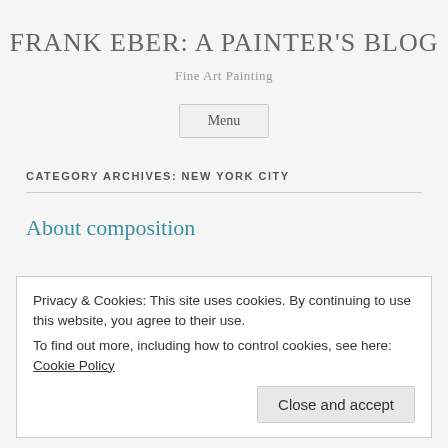FRANK EBER: A PAINTER'S BLOG
Fine Art Painting
Menu
CATEGORY ARCHIVES: NEW YORK CITY
About composition
Privacy & Cookies: This site uses cookies. By continuing to use this website, you agree to their use.
To find out more, including how to control cookies, see here: Cookie Policy
Close and accept